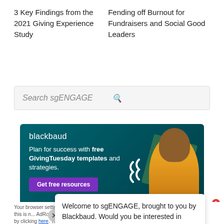3 Key Findings from the 2021 Giving Experience Study
Fending off Burnout for Fundraisers and Social Good Leaders
Search sgENGAGE
[Figure (screenshot): Blackbaud advertisement banner: teal background, text 'blackbaud', 'Plan for success with free GivingTuesday templates and strategies.', purple 'Get free resources' button, decorative diamonds and green textured square, smiling woman in yellow shirt, wave graphics.]
Welcome to sgENGAGE, brought to you by Blackbaud. Would you be interested in chatting with someone o...
Your browser settings do not allow AdRoll to use cross-site tracking. You can opt in to this by clicking here. This me... AdRoll...g